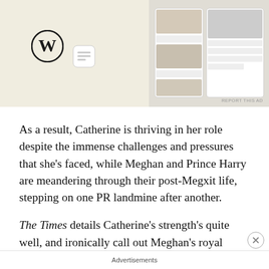[Figure (screenshot): Advertisement banner showing WordPress logo and food/recipe app screenshots on a beige background]
As a result, Catherine is thriving in her role despite the immense challenges and pressures that she's faced, while Meghan and Prince Harry are meandering through their post-Megxit life, stepping on one PR landmine after another.
The Times details Catherine's strength's quite well, and ironically call out Meghan's royal mistakes.
After Meghan and Harry's interview with Oprah Winfrey, Catherine continued with a scheduled engagement within days, with Prince William by her side, and ignored the press attention...
Advertisements